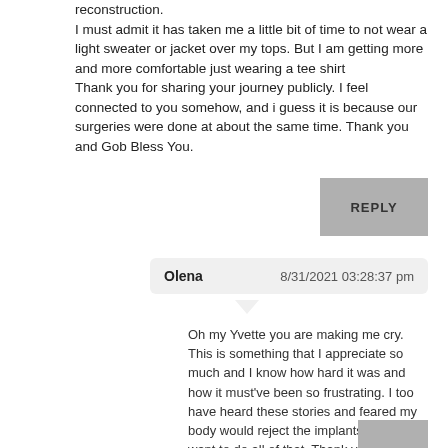reconstruction.
I must admit it has taken me a little bit of time to not wear a light sweater or jacket over my tops. But I am getting more and more comfortable just wearing a tee shirt
Thank you for sharing your journey publicly. I feel connected to you somehow, and i guess it is because our surgeries were done at about the same time. Thank you and Gob Bless You.
REPLY
Olena   8/31/2021 03:28:37 pm
Oh my Yvette you are making me cry. This is something that I appreciate so much and I know how hard it was and how it must've been so frustrating. I too have heard these stories and feared my body would reject the implants and didn't want to do all of that. Thank you for sharing your story and I appreciate your bravery. Congrats on being cancer free and I feel connected to you too. With love, Olena